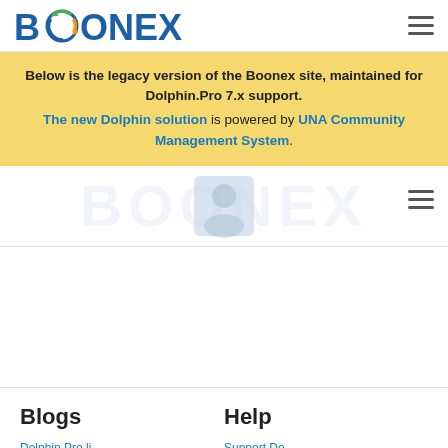[Figure (logo): Boonex logo with circular icon between the two O letters, blue text]
[Figure (other): Hamburger menu icon (three horizontal lines) in top right]
Below is the legacy version of the Boonex site, maintained for Dolphin.Pro 7.x support. The new Dolphin solution is powered by UNA Community Management System.
[Figure (other): Second hamburger menu icon on right side below banner]
Blogs
Help